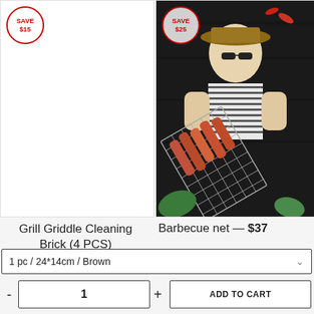[Figure (photo): Left product card area with white background and SAVE $15 badge, empty product image area]
[Figure (photo): Right product card showing a man in striped shirt holding a barbecue grill net with food on it, dark background with spices. SAVE $25 badge overlaid.]
Grill Griddle Cleaning Brick (4 PCS)
Barbecue net — $37
AUD
1 pc / 24*14cm / Brown
1
ADD TO CART